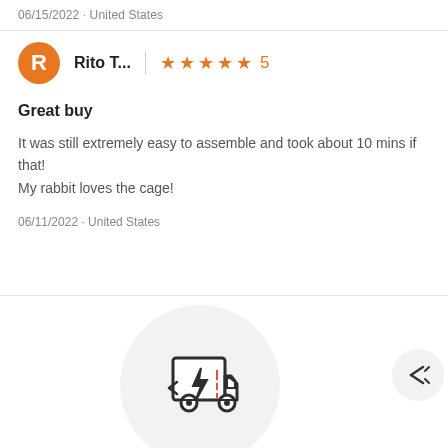06/15/2022 · United States
Rito T... ★★★★★ 5
Great buy
It was still extremely easy to assemble and took about 10 mins if that!
My rabbit loves the cage!
06/11/2022 · United States
[Figure (illustration): Delivery truck icon with lightning bolt inside a circle, and a navigation/expand arrow icon on the right]